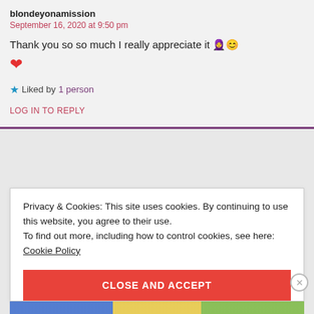blondeyonamission
September 16, 2020 at 9:50 pm
Thank you so so much I really appreciate it 🧡😊 ❤️
Liked by 1 person
LOG IN TO REPLY
Privacy & Cookies: This site uses cookies. By continuing to use this website, you agree to their use.
To find out more, including how to control cookies, see here: Cookie Policy
CLOSE AND ACCEPT